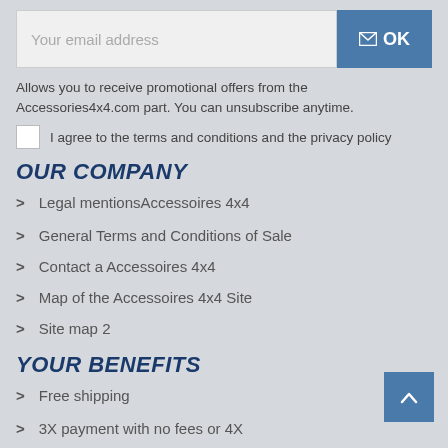[Figure (screenshot): Email address input field with placeholder text 'Your email address' and a blue OK button with envelope icon]
Allows you to receive promotional offers from the Accessories4x4.com part. You can unsubscribe anytime.
I agree to the terms and conditions and the privacy policy
OUR COMPANY
Legal mentionsAccessoires 4x4
General Terms and Conditions of Sale
Contact a Accessoires 4x4
Map of the Accessoires 4x4 Site
Site map 2
YOUR BENEFITS
Free shipping
3X payment with no fees or 4X
Secure Payments